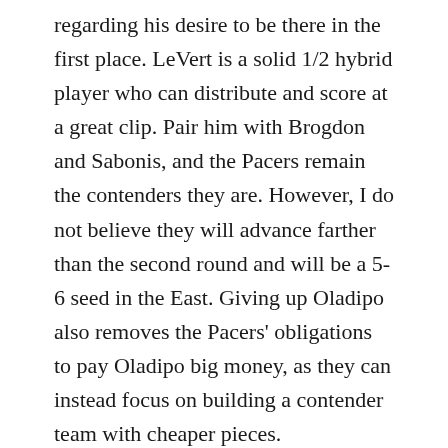regarding his desire to be there in the first place. LeVert is a solid 1/2 hybrid player who can distribute and score at a great clip. Pair him with Brogdon and Sabonis, and the Pacers remain the contenders they are. However, I do not believe they will advance farther than the second round and will be a 5-6 seed in the East. Giving up Oladipo also removes the Pacers' obligations to pay Oladipo big money, as they can instead focus on building a contender team with cheaper pieces.